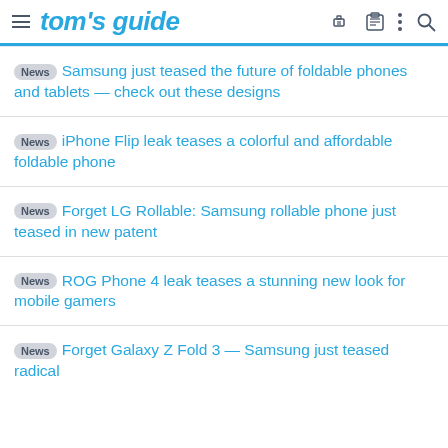tom's guide
News Samsung just teased the future of foldable phones and tablets — check out these designs
News iPhone Flip leak teases a colorful and affordable foldable phone
News Forget LG Rollable: Samsung rollable phone just teased in new patent
News ROG Phone 4 leak teases a stunning new look for mobile gamers
News Forget Galaxy Z Fold 3 — Samsung just teased radical